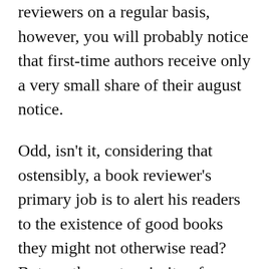reviewers on a regular basis, however, you will probably notice that first-time authors receive only a very small share of their august notice.
Odd, isn't it, considering that ostensibly, a book reviewer's primary job is to alert his readers to the existence of good books they might not otherwise read? But no: the vast majority of reviews are of well-hyped books by already-established writers.
Personally, I would find it a bit tedious to keep on informing the world yet again that Alice Walker can write and that J.K. Rowling has a future in